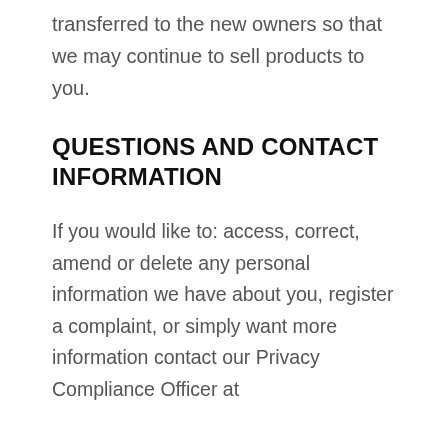transferred to the new owners so that we may continue to sell products to you.
QUESTIONS AND CONTACT INFORMATION
If you would like to: access, correct, amend or delete any personal information we have about you, register a complaint, or simply want more information contact our Privacy Compliance Officer at